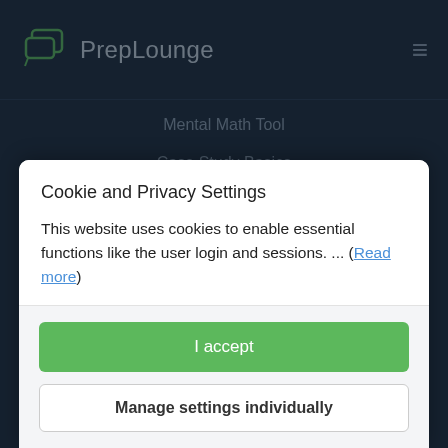[Figure (logo): PrepLounge logo with speech bubble icon and hamburger menu]
Mental Math Tool
Case Study Basics
Cookie and Privacy Settings
This website uses cookies to enable essential functions like the user login and sessions. ... (Read more)
I accept
Manage settings individually